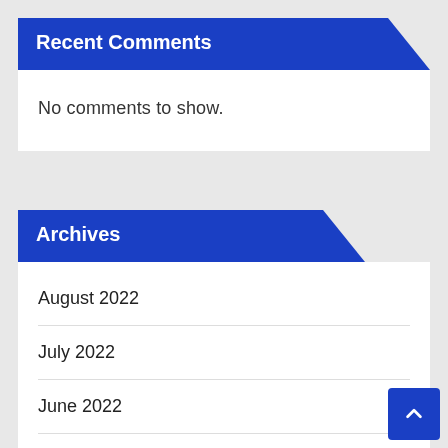Recent Comments
No comments to show.
Archives
August 2022
July 2022
June 2022
May 2022
April 2022